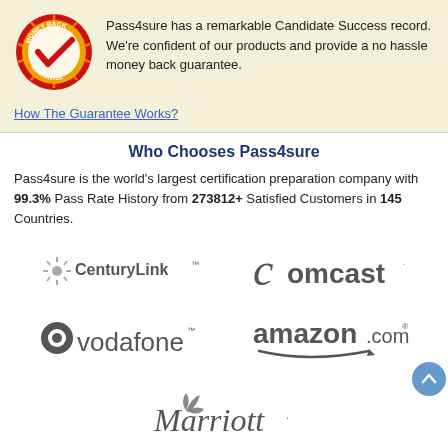[Figure (illustration): Money-back guarantee badge - red circular seal with gold checkmark and 'MONEY BACK GUARANTEE' text]
Pass4sure has a remarkable Candidate Success record. We're confident of our products and provide a no hassle money back guarantee.
How The Guarantee Works?
Who Chooses Pass4sure
Pass4sure is the world's largest certification preparation company with 99.3% Pass Rate History from 273812+ Satisfied Customers in 145 Countries.
[Figure (logo): CenturyLink logo]
[Figure (logo): Comcast logo]
[Figure (logo): Vodafone logo]
[Figure (logo): amazon.com logo]
[Figure (logo): Marriott logo]
Secure Shopping Experience
[Figure (illustration): Payment method icons row]